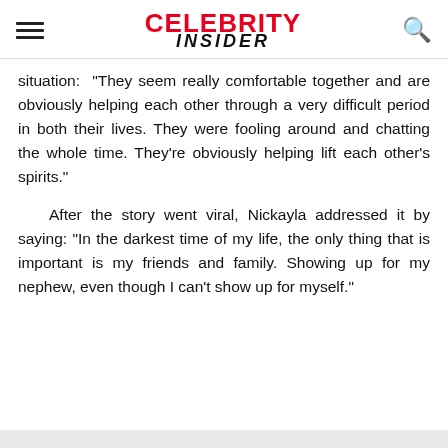CELEBRITY INSIDER
situation: "They seem really comfortable together and are obviously helping each other through a very difficult period in both their lives. They were fooling around and chatting the whole time. They're obviously helping lift each other's spirits."
After the story went viral, Nickayla addressed it by saying: "In the darkest time of my life, the only thing that is important is my friends and family. Showing up for my nephew, even though I can't show up for myself."